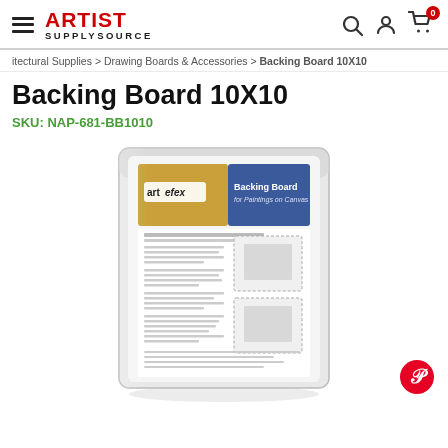ARTIST SUPPLY SOURCE
itectural Supplies > Drawing Boards & Accessories > Backing Board 10X10
Backing Board 10X10
SKU: NAP-681-BB1010
[Figure (photo): Product photo of Artefex Backing Board 10X10 in plastic packaging, showing the label with gold and blue design reading 'artefex Backing Board for Paintings on Canvas']